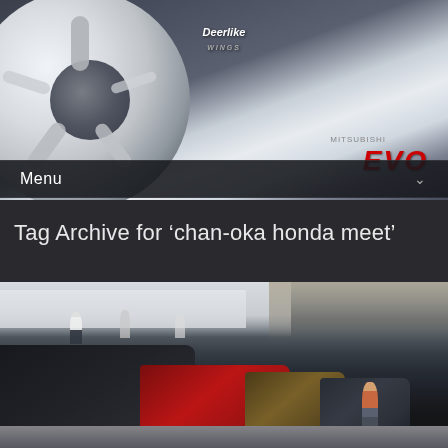[Figure (photo): Close-up photo of a white car wheel/rim with 'EVO' text visible in red on the upper right, dark background]
Menu
Tag Archive for ‘chan-oka honda meet’
[Figure (photo): Photo of a Honda car meet showing multiple cars (dark, red, and other colors) parked in a row at an outdoor venue with people walking around, industrial buildings in background]